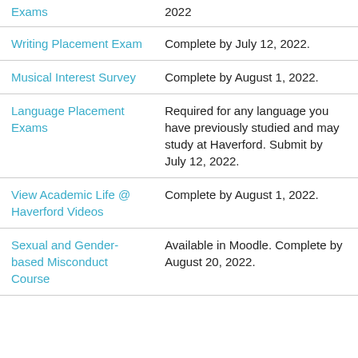| Task | Details |
| --- | --- |
| Exams | 2022 |
| Writing Placement Exam | Complete by July 12, 2022. |
| Musical Interest Survey | Complete by August 1, 2022. |
| Language Placement Exams | Required for any language you have previously studied and may study at Haverford. Submit by July 12, 2022. |
| View Academic Life @ Haverford Videos | Complete by August 1, 2022. |
| Sexual and Gender-based Misconduct Course | Available in Moodle. Complete by August 20, 2022. |